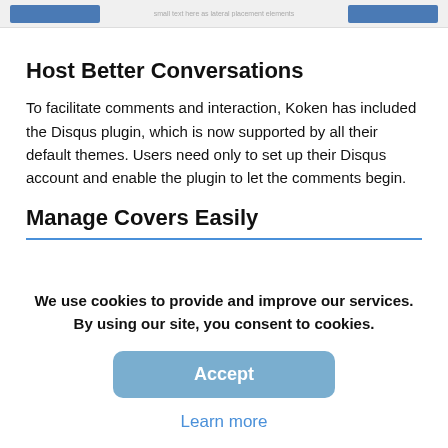[Figure (screenshot): Top strip showing two blue button thumbnails and small text between them]
Host Better Conversations
To facilitate comments and interaction, Koken has included the Disqus plugin, which is now supported by all their default themes. Users need only to set up their Disqus account and enable the plugin to let the comments begin.
Manage Covers Easily
We use cookies to provide and improve our services. By using our site, you consent to cookies.
Accept
Learn more